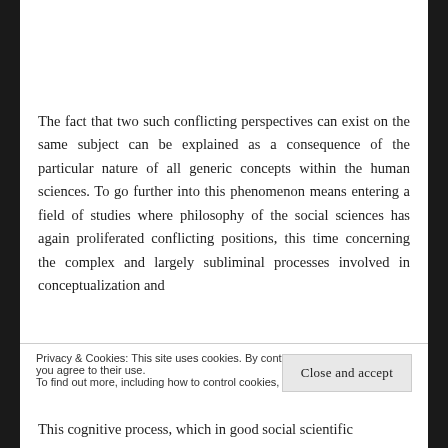The fact that two such conflicting perspectives can exist on the same subject can be explained as a consequence of the particular nature of all generic concepts within the human sciences. To go further into this phenomenon means entering a field of studies where philosophy of the social sciences has again proliferated conflicting positions, this time concerning the complex and largely subliminal processes involved in conceptualization and
Privacy & Cookies: This site uses cookies. By continuing to use this website, you agree to their use.
To find out more, including how to control cookies, see here: Cookie Policy
Close and accept
This cognitive process, which in good social scientific